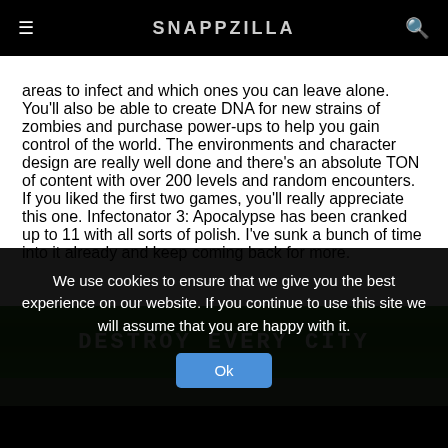SNAPPZILLA
areas to infect and which ones you can leave alone. You'll also be able to create DNA for new strains of zombies and purchase power-ups to help you gain control of the world. The environments and character design are really well done and there's an absolute TON of content with over 200 levels and random encounters. If you liked the first two games, you'll really appreciate this one. Infectonator 3: Apocalypse has been cranked up to 11 with all sorts of polish. I've sunk a bunch of time into it already and keep coming back for more.
[Figure (screenshot): Game screenshot banner with green gradient background and white pixel-style text reading DESTROY EVERY CITY, with a game scene visible below]
We use cookies to ensure that we give you the best experience on our website. If you continue to use this site we will assume that you are happy with it.